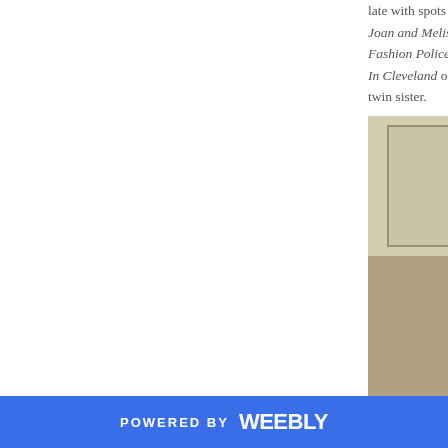late with spots on Celebrity ... Joan and Melissa: Joan Kno... Fashion Police. She even di... In Cleveland opposite Betty... twin sister.
[Figure (photo): A woman in a yellow jacket shaking hands with someone in a light blue shirt, standing in front of a dark door.]
It breaks my heart to remem... one of Johnny Carson's pro... deep seeded respect for Joa... female to head a talk show,...
Apparently she also had a li... article on NPR. Be shocked...
POWERED BY weebly